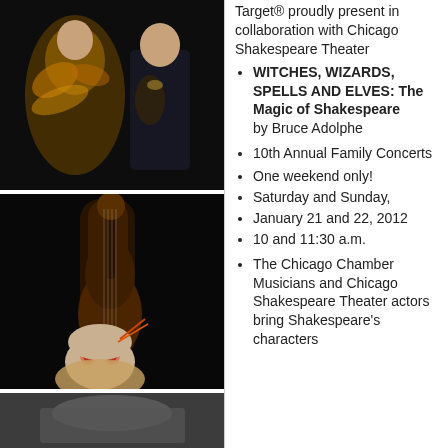[Figure (photo): Two costumed performers on a dark stage, one wearing elaborate feathered/golden costume]
[Figure (photo): Theatrical performer in costume with face paint crouching near a large double bass instrument on a dark stage]
[Figure (photo): Partial view of another theatrical scene, cropped at bottom]
Target® proudly present in collaboration with Chicago Shakespeare Theater
WITCHES, WIZARDS, SPELLS AND ELVES: The Magic of Shakespeare by Bruce Adolphe
10th Annual Family Concerts
One weekend only!
Saturday and Sunday,
January 21 and 22, 2012
10 and 11:30 a.m.
The Chicago Chamber Musicians and Chicago Shakespeare Theater actors bring Shakespeare's characters...